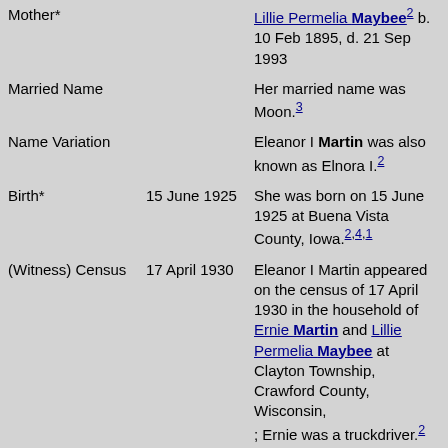| Field | Date | Description |
| --- | --- | --- |
| Mother* |  | Lillie Permelia Maybee² b. 10 Feb 1895, d. 21 Sep 1993 |
| Married Name |  | Her married name was Moon.³ |
| Name Variation |  | Eleanor I Martin was also known as Elnora I.² |
| Birth* | 15 June 1925 | She was born on 15 June 1925 at Buena Vista County, Iowa.²,4,1 |
| (Witness) Census | 17 April 1930 | Eleanor I Martin appeared on the census of 17 April 1930 in the household of Ernie Martin and Lillie Permelia Maybee at Clayton Township, Crawford County, Wisconsin, ; Ernie was a truckdriver.² |
| (Witness) Census | 8 July 1940 | Eleanor I Martin appeared on the census... |